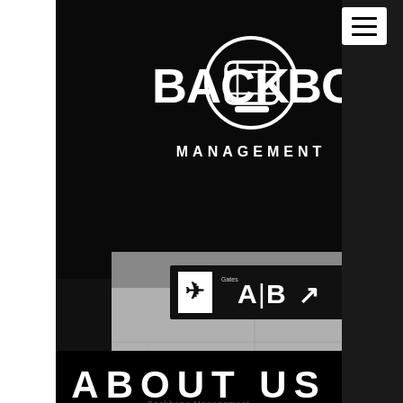[Figure (logo): Backbone Management logo: circle with stylized connected rectangles icon, text BACK BONE on sides, MANAGEMENT below]
[Figure (photo): Black and white photo of an airport interior: concrete wall with overhead sign reading 'Gates A|B' with arrow, monochrome aesthetic]
ABOUT US